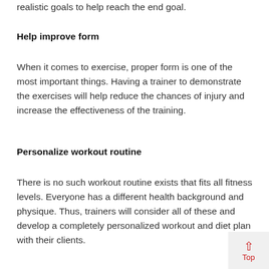realistic goals to help reach the end goal.
Help improve form
When it comes to exercise, proper form is one of the most important things. Having a trainer to demonstrate the exercises will help reduce the chances of injury and increase the effectiveness of the training.
Personalize workout routine
There is no such workout routine exists that fits all fitness levels. Everyone has a different health background and physique. Thus, trainers will consider all of these and develop a completely personalized workout and diet plan with their clients.